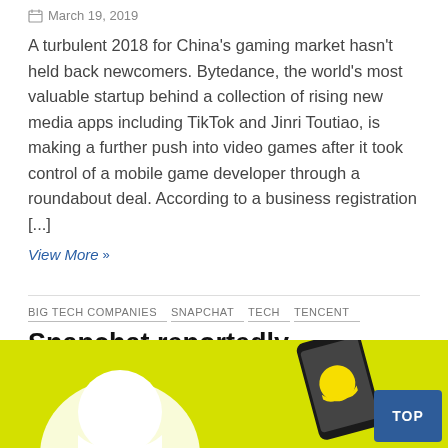March 19, 2019
A turbulent 2018 for China's gaming market hasn't held back newcomers. Bytedance, the world's most valuable startup behind a collection of rising new media apps including TikTok and Jinri Toutiao, is making a further push into video games after it took control of a mobile game developer through a roundabout deal. According to a business registration [...]
View More »
BIG TECH COMPANIES  SNAPCHAT  TECH  TENCENT
Snapchat reportedly announcing new gaming platform in April
March 16, 2019
[Figure (photo): Yellow background with Snapchat ghost logo and phone device visible]